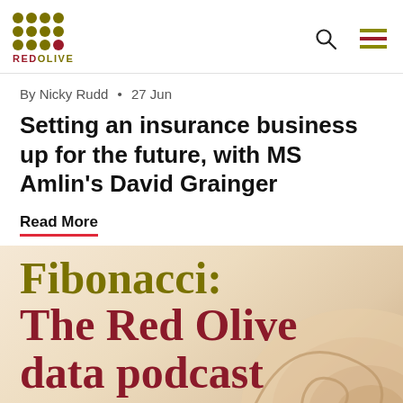[Figure (logo): Red Olive logo: a 4x3 grid of olive-colored and one red dot, with text RED OLIVE below]
By Nicky Rudd  •  27 Jun
Setting an insurance business up for the future, with MS Amlin's David Grainger
Read More
[Figure (illustration): Fibonacci: The Red Olive data podcast — large text overlay on a warm cream/gold background with decorative spiral element]